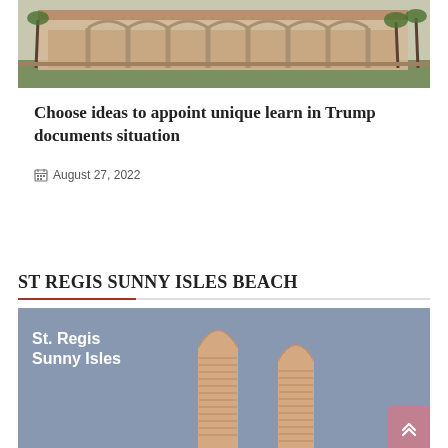[Figure (photo): Aerial/ground-level photo of a large Mediterranean-style estate building with arched colonnades, palm trees, and green lawn — likely Mar-a-Lago.]
Choose ideas to appoint unique learn in Trump documents situation
August 27, 2022
ST REGIS SUNNY ISLES BEACH
[Figure (illustration): Architectural rendering illustration of the St. Regis Sunny Isles Beach towers — two tall oval/arch-shaped luxury high-rise towers with horizontal banding, shown against a blue-grey background with 'St. Regis Sunny Isles' text overlay.]